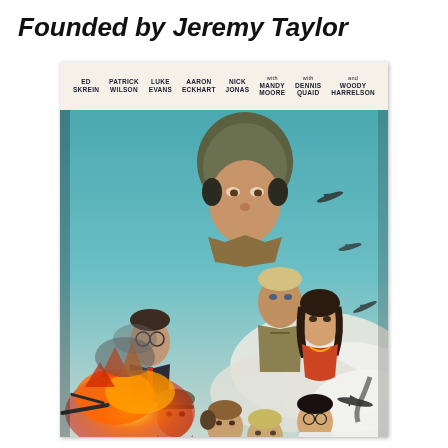Founded by Jeremy Taylor
[Figure (photo): Movie poster for Midway (2019) featuring cast members ED SKREIN, PATRICK WILSON, LUKE EVANS, AARON ECKHART, NICK JONAS, with MANDY MOORE, with DENNIS QUAID, and WOODY HARRELSON. The poster shows a WWII fighter pilot in the foreground with other cast members and aerial battle scenes with explosions and aircraft in the background against a blue sky with clouds.]